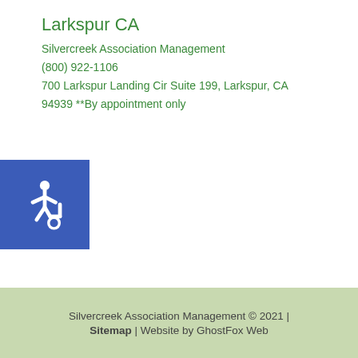Larkspur CA
Silvercreek Association Management
(800) 922-1106
700 Larkspur Landing Cir Suite 199, Larkspur, CA 94939 **By appointment only
[Figure (illustration): Blue square accessibility icon with white wheelchair symbol]
Silvercreek Association Management © 2021 | Sitemap | Website by GhostFox Web